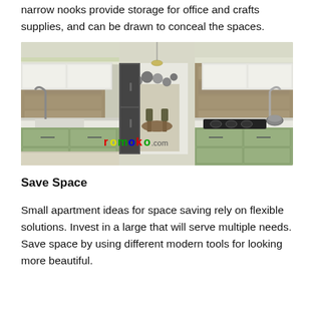narrow nooks provide storage for office and crafts supplies, and can be drawn to conceal the spaces.
[Figure (photo): Modern parallel kitchen interior with green cabinetry, marble countertops, stone backsplash, and dining area visible in background. Romoko.com watermark.]
Save Space
Small apartment ideas for space saving rely on flexible solutions. Invest in a large that will serve multiple needs. Save space by using different modern tools for looking more beautiful.